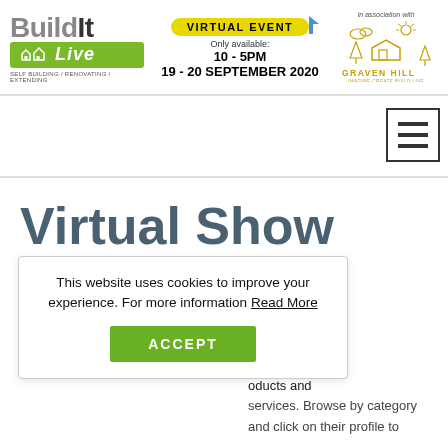[Figure (logo): Build It Live logo with green bar and house icons, tagline: SELF BUILDING / RENOVATING / EXTENDING]
[Figure (infographic): Virtual Event badge in yellow pill shape with cursor icon. Text: VIRTUAL EVENT, Only available:, 10-5PM, 19-20 SEPTEMBER 2020]
[Figure (logo): Graven Hill logo - In association with, illustrated house/village logo with GRAVEN HILL text and tagline IMAGINE CREATE BUILD LIVE]
[Figure (other): Hamburger menu icon - three horizontal lines in a square border]
Virtual Show
This website uses cookies to improve your experience. For more information Read More
ACCEPT
verything from They are here oducts and services. Browse by category and click on their profile to